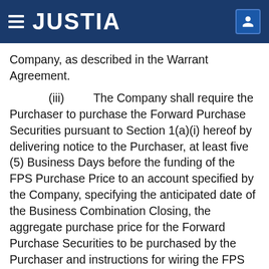JUSTIA
Company, as described in the Warrant Agreement.
(iii) The Company shall require the Purchaser to purchase the Forward Purchase Securities pursuant to Section 1(a)(i) hereof by delivering notice to the Purchaser, at least five (5) Business Days before the funding of the FPS Purchase Price to an account specified by the Company, specifying the anticipated date of the Business Combination Closing, the aggregate purchase price for the Forward Purchase Securities to be purchased by the Purchaser and instructions for wiring the FPS Purchase Price to an account designated by the Company. Two (2) Business Days before the anticipated date of the Business Combination Closing specified in such